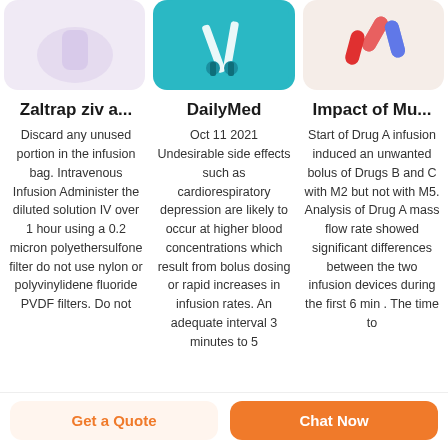[Figure (photo): Three card images at top: left showing a light purple/white background with a medical item, center showing syringes on a teal background, right showing red and blue capsules on a light background.]
Zaltrap ziv a...
Discard any unused portion in the infusion bag. Intravenous Infusion Administer the diluted solution IV over 1 hour using a 0.2 micron polyethersulfone filter do not use nylon or polyvinylidene fluoride PVDF filters. Do not
DailyMed
Oct 11 2021 Undesirable side effects such as cardiorespiratory depression are likely to occur at higher blood concentrations which result from bolus dosing or rapid increases in infusion rates. An adequate interval 3 minutes to 5
Impact of Mu...
Start of Drug A infusion induced an unwanted bolus of Drugs B and C with M2 but not with M5. Analysis of Drug A mass flow rate showed significant differences between the two infusion devices during the first 6 min . The time to
Get a Quote
Chat Now